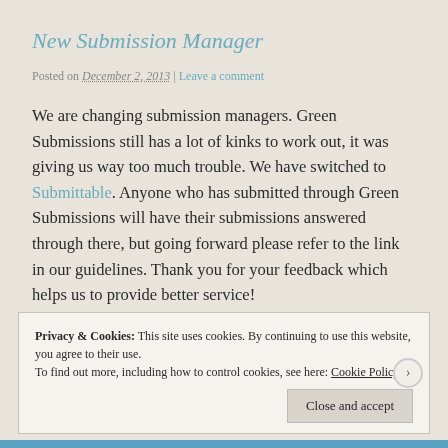New Submission Manager
Posted on December 2, 2013 | Leave a comment
We are changing submission managers.  Green Submissions still has a lot of kinks to work out, it was giving us way too much trouble.  We have switched to Submittable. Anyone who has submitted through Green Submissions will have their submissions answered through there, but going forward please refer to the link in our guidelines.  Thank you for your feedback which helps us to provide better service!
Privacy & Cookies: This site uses cookies. By continuing to use this website, you agree to their use. To find out more, including how to control cookies, see here: Cookie Policy
Close and accept